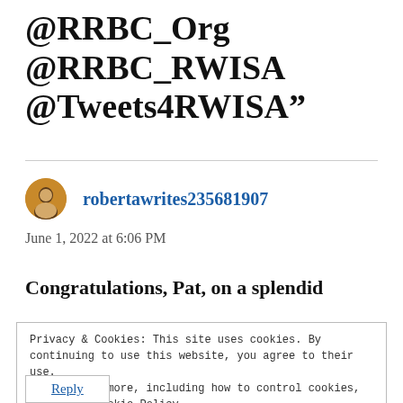@RRBC_Org @RRBC_RWISA @Tweets4RWISA”
robertawrites235681907
June 1, 2022 at 6:06 PM
Congratulations, Pat, on a splendid
Privacy & Cookies: This site uses cookies. By continuing to use this website, you agree to their use.
To find out more, including how to control cookies, see here: Cookie Policy
Close and accept
Reply